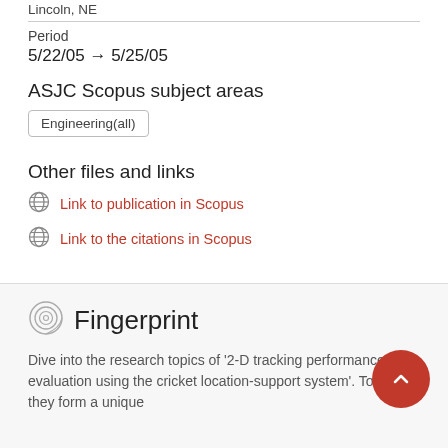Lincoln, NE
Period
5/22/05 → 5/25/05
ASJC Scopus subject areas
Engineering(all)
Other files and links
Link to publication in Scopus
Link to the citations in Scopus
Fingerprint
Dive into the research topics of '2-D tracking performance evaluation using the cricket location-support system'. Together they form a unique